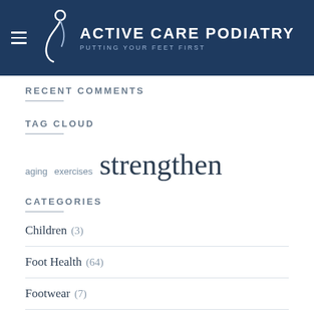ACTIVE CARE PODIATRY – PUTTING YOUR FEET FIRST
RECENT COMMENTS
TAG CLOUD
aging  exercises  strengthen
CATEGORIES
Children (3)
Foot Health (64)
Footwear (7)
Injuries (15)